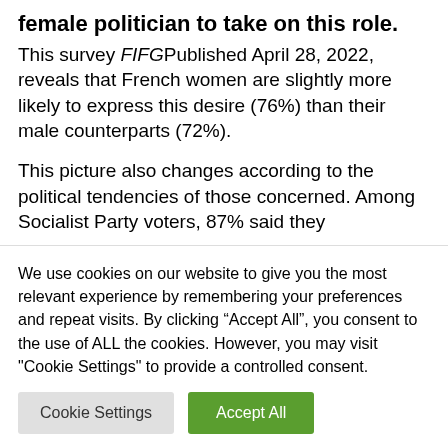female politician to take on this role.
This survey FIFGPublished April 28, 2022, reveals that French women are slightly more likely to express this desire (76%) than their male counterparts (72%).
This picture also changes according to the political tendencies of those concerned. Among Socialist Party voters, 87% said they…
We use cookies on our website to give you the most relevant experience by remembering your preferences and repeat visits. By clicking “Accept All”, you consent to the use of ALL the cookies. However, you may visit "Cookie Settings" to provide a controlled consent.